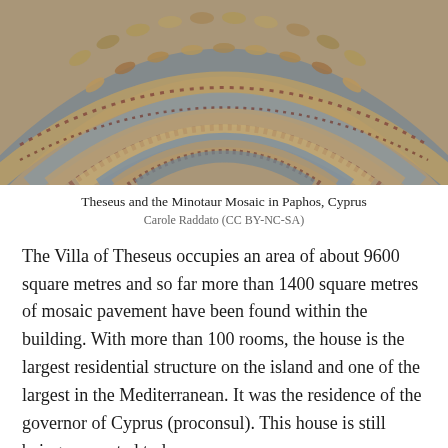[Figure (photo): Close-up photograph of the Theseus and the Minotaur Mosaic showing decorative circular mosaic patterns with leaf and geometric motifs in gold, blue, and brown tones, Paphos, Cyprus.]
Theseus and the Minotaur Mosaic in Paphos, Cyprus
Carole Raddato (CC BY-NC-SA)
The Villa of Theseus occupies an area of about 9600 square metres and so far more than 1400 square metres of mosaic pavement have been found within the building. With more than 100 rooms, the house is the largest residential structure on the island and one of the largest in the Mediterranean. It was the residence of the governor of Cyprus (proconsul). This house is still being excavated today.
The other mosaic to look for in the Villa of Theseus is the one depicting the Birth of Achilles